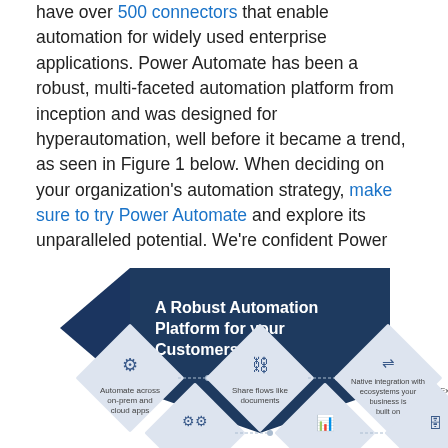have over 500 connectors that enable automation for widely used enterprise applications. Power Automate has been a robust, multi-faceted automation platform from inception and was designed for hyperautomation, well before it became a trend, as seen in Figure 1 below. When deciding on your organization's automation strategy, make sure to try Power Automate and explore its unparalleled potential. We're confident Power Automate will fulfill the broad set of requirements and depth that your organization needs to unlock and enjoy the benefits of hyperautomation.
[Figure (infographic): Infographic titled 'A Robust Automation Platform for your Customers' with a dark navy blue pentagon/arrow shape on the left and diamond-shaped tiles showing features: Automate across on-prem and cloud apps, Share flows like documents, Native integration with ecosystems your business is built on, Extens... (cut off). Bottom row of diamonds partially visible with icons for workflows, analytics, and database.]